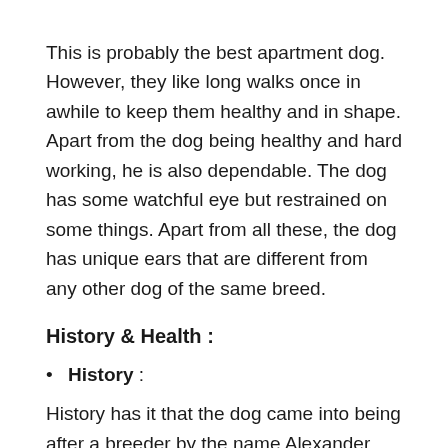This is probably the best apartment dog. However, they like long walks once in awhile to keep them healthy and in shape. Apart from the dog being healthy and hard working, he is also dependable. The dog has some watchful eye but restrained on some things. Apart from all these, the dog has unique ears that are different from any other dog of the same breed.
History & Health :
History :
History has it that the dog came into being after a breeder by the name Alexander bred two animals to come up with the breed. After the breeding, the dog has been famous for his breeding abilities for many centuries and the raising of…